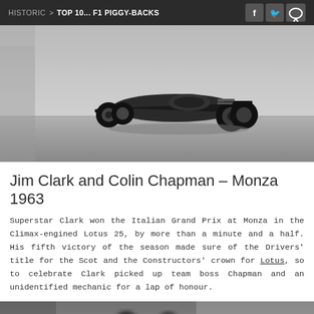HISTORIC > TOP 10... F1 PIGGY-BACKS
[Figure (photo): Black and white photo of a Formula 1 Lotus race car on track, top portion of the car visible, 1960s era single-seater racing car]
Jim Clark and Colin Chapman – Monza 1963
Superstar Clark won the Italian Grand Prix at Monza in the Climax-engined Lotus 25, by more than a minute and a half. His fifth victory of the season made sure of the Drivers' title for the Scot and the Constructors' crown for Lotus, so to celebrate Clark picked up team boss Chapman and an unidentified mechanic for a lap of honour.
[Figure (photo): Black and white photo showing people on or around a racing car, blurred/partially visible, appears to show the piggy-back lap of honour scene]